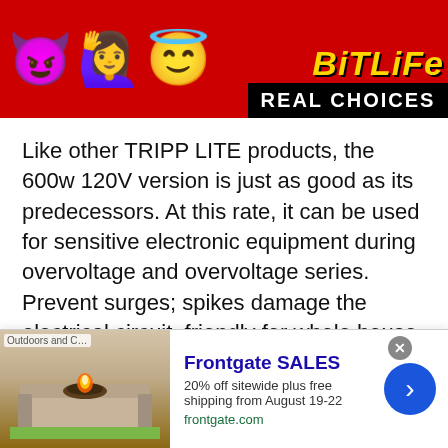[Figure (screenshot): Top banner advertisement with red background featuring emoji characters (devil, woman with arms raised, smiling emoji with halo) and BitLife logo with 'REAL CHOICES' text in black bar]
Like other TRIPP LITE products, the 600w 120V version is just as good as its predecessors. At this rate, it can be used for sensitive electronic equipment during overvoltage and overvoltage series. Prevent surges; spikes damage the electrical circuit, friendly for whole house power conditioner for generator. Filtering out line noise likely to cause disruption.
The TRIPP LITE 600w has connections for u...
[Figure (screenshot): Bottom banner advertisement for Frontgate SALES showing outdoor fire pit furniture image on left, with text 'Frontgate SALES', '20% off sitewide plus free shipping from August 19-22', 'frontgate.com', a close X button, and a blue arrow button on right]